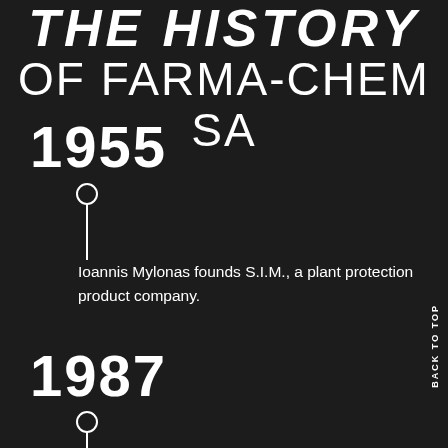THE HISTORY OF FARMA-CHEM SA
1955
[Figure (infographic): Pin/timeline marker icon for 1955]
Ioannis Mylonas founds S.I.M., a plant protection product company.
1987
[Figure (infographic): Pin/timeline marker icon for 1987]
The company evolves dynamically and changes its trade name, as S.I.M. is absorbed by
BACK TO TOP